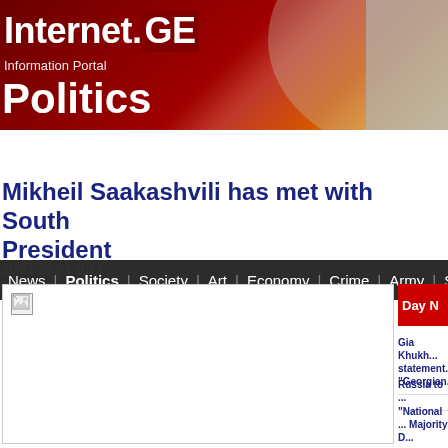Internet.GE — Information Portal — Politics
News | Politics | Society | Art | Economy | Crime | Army | S...
Mikheil Saakashvili has met with South President
10:21 29.03.2012
[Figure (photo): Broken image placeholder for article photo]
Day N...
Gia Khukh... statement... "Georgian...
Russia to ...
"National ... Majority D...